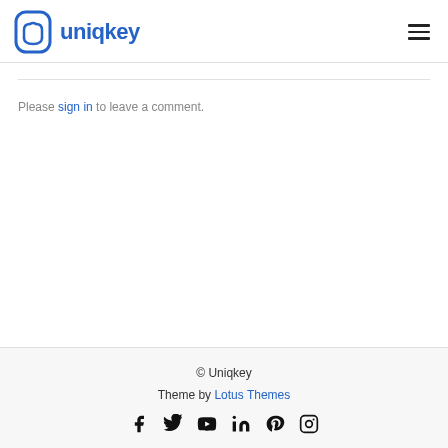uniqkey
Please sign in to leave a comment.
© Uniqkey
Theme by Lotus Themes